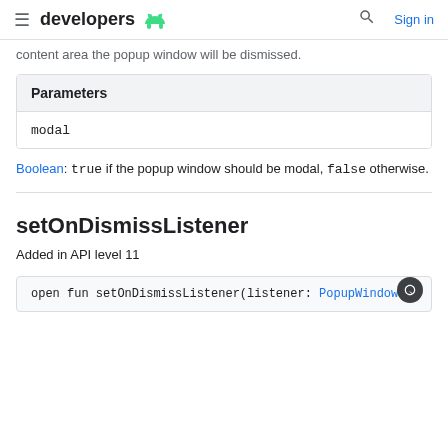developers [android logo] | [search] Sign in
content area the popup window will be dismissed.
| Parameters |
| --- |
| modal |
Boolean: true if the popup window should be modal, false otherwise.
setOnDismissListener
Added in API level 11
open fun setOnDismissListener(listener: PopupWindow...